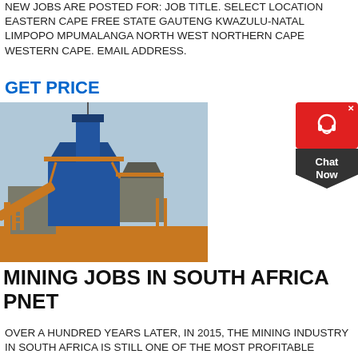NEW JOBS ARE POSTED FOR: JOB TITLE. SELECT LOCATION EASTERN CAPE FREE STATE GAUTENG KWAZULU-NATAL LIMPOPO MPUMALANGA NORTH WEST NORTHERN CAPE WESTERN CAPE. EMAIL ADDRESS.
GET PRICE
[Figure (photo): Industrial mining equipment - large blue steel structure with conveyor systems and elevated platforms at a mining site]
[Figure (other): Chat Now widget - red bubble with headset icon, dark pentagon shape below with Chat Now text]
MINING JOBS IN SOUTH AFRICA PNET
OVER A HUNDRED YEARS LATER, IN 2015, THE MINING INDUSTRY IN SOUTH AFRICA IS STILL ONE OF THE MOST PROFITABLE FIELDS IN THE COUNTRY AND CONTRIBUTES